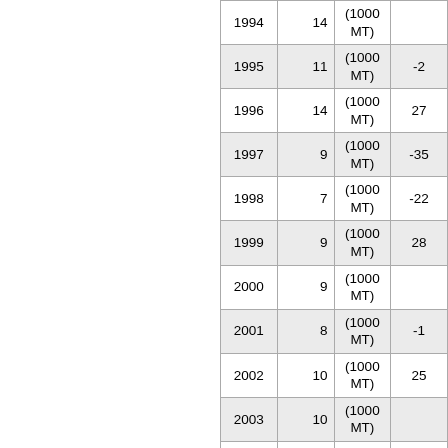| Year | Col2 | Unit | Col4 |
| --- | --- | --- | --- |
| 1994 | 14 | (1000 MT) |  |
| 1995 | 11 | (1000 MT) | -2 |
| 1996 | 14 | (1000 MT) | 27 |
| 1997 | 9 | (1000 MT) | -35 |
| 1998 | 7 | (1000 MT) | -22 |
| 1999 | 9 | (1000 MT) | 28 |
| 2000 | 9 | (1000 MT) |  |
| 2001 | 8 | (1000 MT) | -1 |
| 2002 | 10 | (1000 MT) | 25 |
| 2003 | 10 | (1000 MT) |  |
| 2004 | 15 | (1000 MT) | 50 |
| 2005 | 21 | (1000 MT) | 40 |